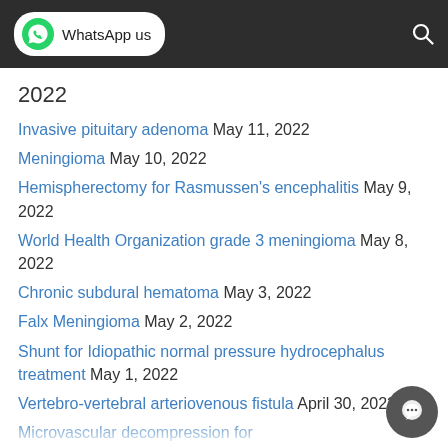WhatsApp us
2022
Invasive pituitary adenoma May 11, 2022
Meningioma May 10, 2022
Hemispherectomy for Rasmussen's encephalitis May 9, 2022
World Health Organization grade 3 meningioma May 8, 2022
Chronic subdural hematoma May 3, 2022
Falx Meningioma May 2, 2022
Shunt for Idiopathic normal pressure hydrocephalus treatment May 1, 2022
Vertebro-vertebral arteriovenous fistula April 30, 2022
Microvascular decompression for